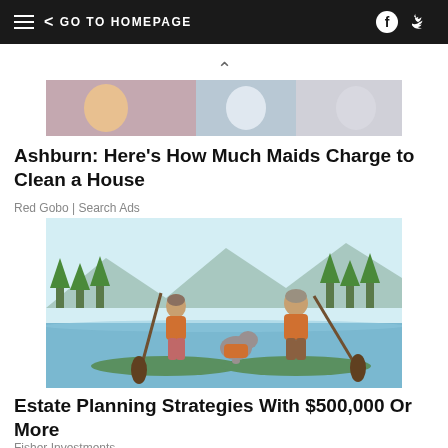GO TO HOMEPAGE
[Figure (photo): Partial image of people at top of page]
Ashburn: Here's How Much Maids Charge to Clean a House
Red Gobo | Search Ads
[Figure (illustration): Illustration of a man and woman on paddleboards on a lake with a dog, wearing orange life vests, holding paddles, with trees and mountains in the background]
Estate Planning Strategies With $500,000 Or More
Fisher Investments